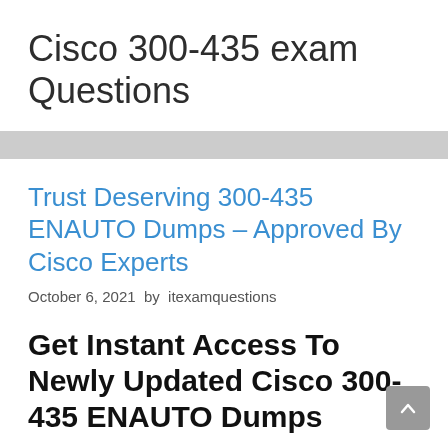Cisco 300-435 exam Questions
Trust Deserving 300-435 ENAUTO Dumps – Approved By Cisco Experts
October 6, 2021 by itexamquestions
Get Instant Access To Newly Updated Cisco 300-435 ENAUTO Dumps